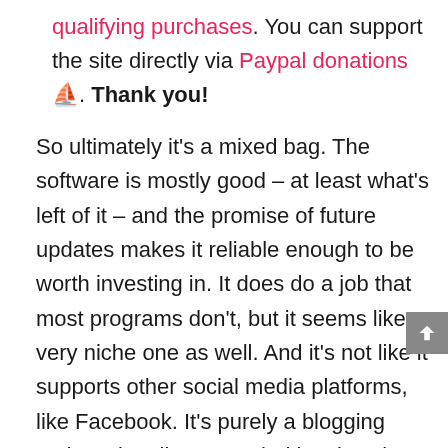qualifying purchases. You can support the site directly via Paypal donations 🍵. Thank you!
So ultimately it's a mixed bag. The software is mostly good – at least what's left of it – and the promise of future updates makes it reliable enough to be worth investing in. It does do a job that most programs don't, but it seems like a very niche one as well. And it's not like it supports other social media platforms, like Facebook. It's purely a blogging tool. Notionally, we're glad it exists, but we can't deny that we're looking at it as something that's probably good for other people. And if it turns out everyone thinks that, it's not much good to anyone.